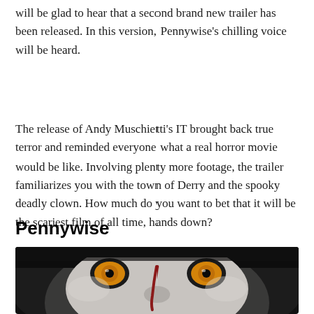will be glad to hear that a second brand new trailer has been released. In this version, Pennywise's chilling voice will be heard.
The release of Andy Muschietti's IT brought back true terror and reminded everyone what a real horror movie would be like. Involving plenty more footage, the trailer familiarizes you with the town of Derry and the spooky deadly clown. How much do you want to bet that it will be the scariest film of all time, hands down?
Pennywise
[Figure (photo): Close-up photo of Pennywise the clown from the IT movie, showing menacing orange/yellow eyes, white face paint with a dark red streak, and dark surrounding shadows.]